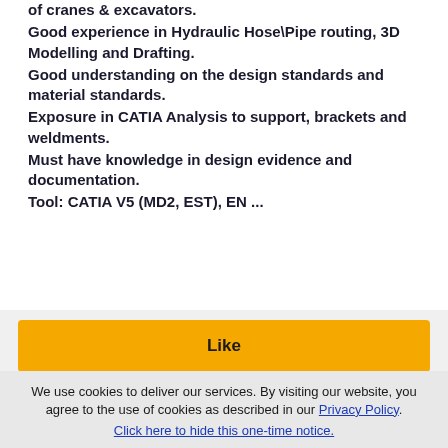of cranes & excavators.
Good experience in Hydraulic Hose\Pipe routing, 3D Modelling and Drafting.
Good understanding on the design standards and material standards.
Exposure in CATIA Analysis to support, brackets and weldments.
Must have knowledge in design evidence and documentation.
Tool: CATIA V5 (MD2, EST), EN ...
Like
View Full Listing
We use cookies to deliver our services. By visiting our website, you agree to the use of cookies as described in our Privacy Policy.
Click here to hide this one-time notice.